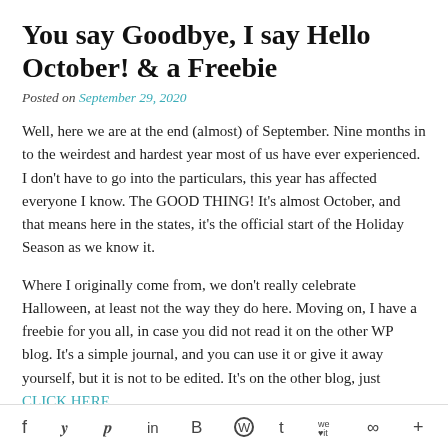You say Goodbye, I say Hello October! & a Freebie
Posted on September 29, 2020
Well, here we are at the end (almost) of September. Nine months in to the weirdest and hardest year most of us have ever experienced. I don't have to go into the particulars, this year has affected everyone I know. The GOOD THING! It's almost October, and that means here in the states, it's the official start of the Holiday Season as we know it.
Where I originally come from, we don't really celebrate Halloween, at least not the way they do here. Moving on, I have a freebie for you all, in case you did not read it on the other WP blog. It's a simple journal, and you can use it or give it away yourself, but it is not to be edited. It's on the other blog, just CLICK HERE
I wanted to point out for those of you who are not
f  y  p  in  B  W  t  we it  %  +